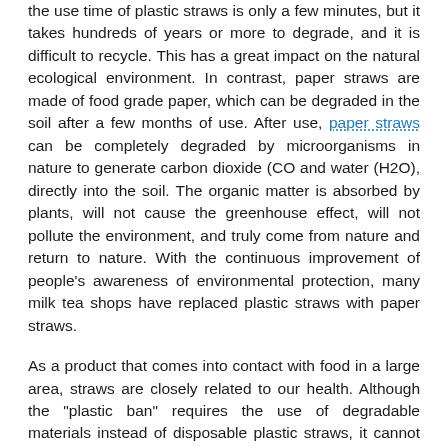the use time of plastic straws is only a few minutes, but it takes hundreds of years or more to degrade, and it is difficult to recycle. This has a great impact on the natural ecological environment. In contrast, paper straws are made of food grade paper, which can be degraded in the soil after a few months of use. After use, paper straws can be completely degraded by microorganisms in nature to generate carbon dioxide (CO and water (H2O), directly into the soil. The organic matter is absorbed by plants, will not cause the greenhouse effect, will not pollute the environment, and truly come from nature and return to nature. With the continuous improvement of people's awareness of environmental protection, many milk tea shops have replaced plastic straws with paper straws.
As a product that comes into contact with food in a large area, straws are closely related to our health. Although the "plastic ban" requires the use of degradable materials instead of disposable plastic straws, it cannot be at the cost of sacrificing food contact safety.